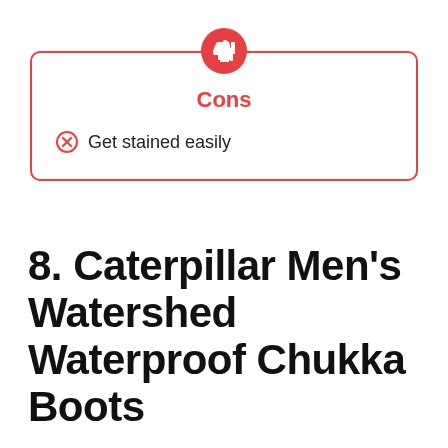Cons
Get stained easily
8. Caterpillar Men's Watershed Waterproof Chukka Boots